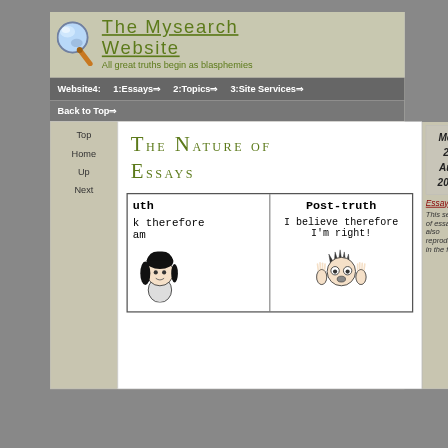[Figure (logo): Blue magnifying glass logo for The Mysearch Website]
The Mysearch Website
All great truths begin as blasphemies
Website4:   1:Essays⇒   2:Topics⇒   3:Site Services⇒
Back to Top⇒
Top
Home
Up
Next
The Nature of Essays
Mon
29
Aug
2022
[Figure (illustration): Two-panel cartoon comparing 'truth' (left panel, partially cut off, showing 'k therefore am' text and cartoon person with dark hair) versus 'Post-truth' (right panel, showing 'I believe therefore I'm right!' text and cartoon person with wide eyes)]
Essays
This section of essays is also reproduced in the form of